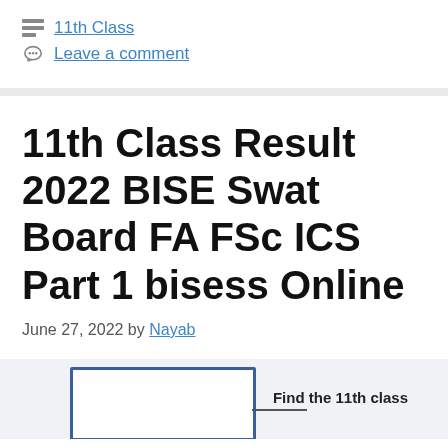11th Class
Leave a comment
11th Class Result 2022 BISE Swat Board FA FSc ICS Part 1 bisess Online
June 27, 2022 by Nayab
[Figure (other): Partial image showing a bordered box with text 'Find the 11th class' visible at the bottom right, on a light gray background.]